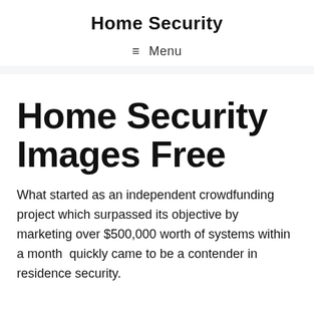Home Security
≡ Menu
Home Security Images Free
What started as an independent crowdfunding project which surpassed its objective by marketing over $500,000 worth of systems within a month  quickly came to be a contender in residence security.